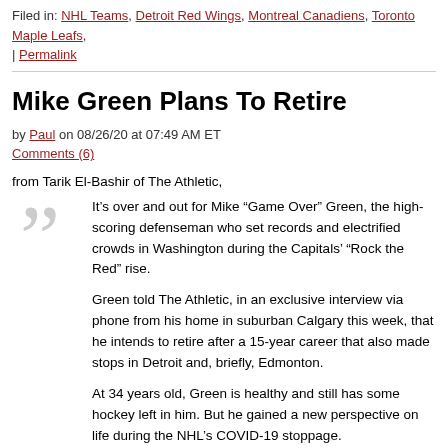Filed in: NHL Teams, Detroit Red Wings, Montreal Canadiens, Toronto Maple Leafs, | Permalink
Mike Green Plans To Retire
by Paul on 08/26/20 at 07:49 AM ET
Comments (6)
from Tarik El-Bashir of The Athletic,
It’s over and out for Mike “Game Over” Green, the high-scoring defenseman who set records and electrified crowds in Washington during the Capitals’ “Rock the Red” rise.
Green told The Athletic, in an exclusive interview via phone from his home in suburban Calgary this week, that he intends to retire after a 15-year career that also made stops in Detroit and, briefly, Edmonton.
At 34 years old, Green is healthy and still has some hockey left in him. But he gained a new perspective on life during the NHL’s COVID-19 stoppage.
“Being an athlete isn’t the only part of who I am,” Green said. “I am a husband, father, son, brother, uncle. I’ve been very fortunate to turn my passion into my profession, but at this point in my life, I’m considering other things that I feel called to do.”